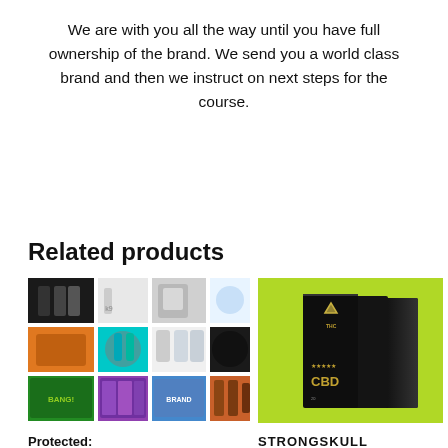We are with you all the way until you have full ownership of the brand. We send you a world class brand and then we instruct on next steps for the course.
Related products
[Figure (photo): Grid of product images showing various branded consumer goods including beverages, supplements, beauty products, and health items]
[Figure (photo): Three black CBD product boxes standing on a lime green background, branded with THC and CBD labels and a triangular logo]
Protected:
STRONGSKULL